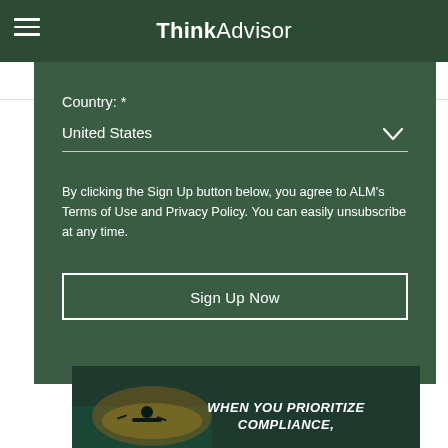ThinkAdvisor
Newsletters
Country: *
United States
By clicking the Sign Up button below, you agree to ALM's Terms of Use and Privacy Policy. You can easily unsubscribe at any time.
Sign Up Now
[Figure (screenshot): Advertisement banner showing kayaker on water with text WHEN YOU PRIORITIZE COMPLIANCE,]